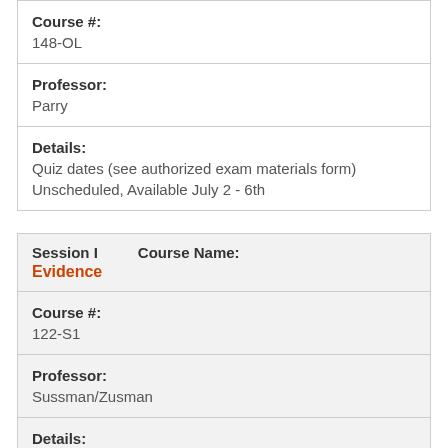| Course #: | 148-OL |
| Professor: | Parry |
| Details: | Quiz dates (see authorized exam materials form)
Unscheduled, Available July 2 - 6th |
| Session I | Course Name: |
| --- | --- |
| Evidence |  |
| Course #: | 122-S1 |
| Professor: | Sussman/Zusman |
| Details: | Unscheduled, Available July 2 - 6th |